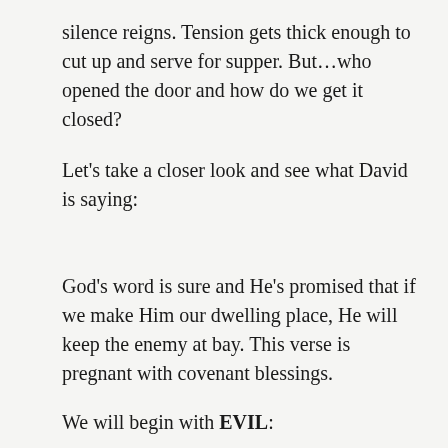silence reigns. Tension gets thick enough to cut up and serve for supper. But...who opened the door and how do we get it closed?
Let’s take a closer look and see what David is saying:
God’s word is sure and He’s promised that if we make Him our dwelling place, He will keep the enemy at bay. This verse is pregnant with covenant blessings.
We will begin with EVIL:
No Evil is Strong’s #7451 from #7489 and it ריייי